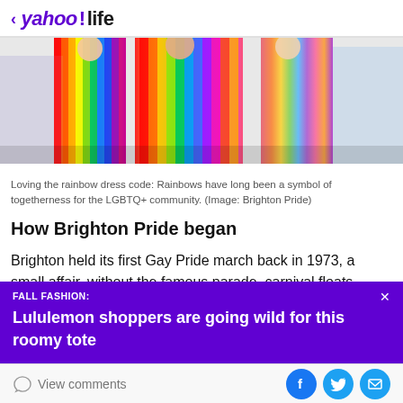< yahoo!life
[Figure (photo): People wearing colorful rainbow-striped clothing at Brighton Pride festival]
Loving the rainbow dress code: Rainbows have long been a symbol of togetherness for the LGBTQ+ community. (Image: Brighton Pride)
How Brighton Pride began
Brighton held its first Gay Pride march back in 1973, a small affair, without the famous parade, carnival floats
FALL FASHION: Lululemon shoppers are going wild for this roomy tote
View comments